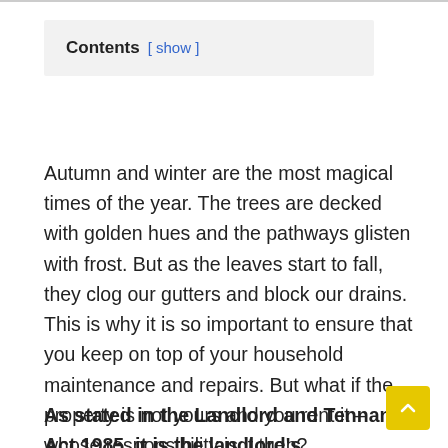Contents [ show ]
Autumn and winter are the most magical times of the year. The trees are decked with golden hues and the pathways glisten with frost. But as the leaves start to fall, they clog our gutters and block our drains. This is why it is so important to ensure that you keep on top of your household maintenance and repairs. But what if the property is not yours and you rent it – whose responsibility is it then?
As stated in the Landlord and Tennant Act 1985, it is the landlord's responsibility to maintain their drainage, pipes